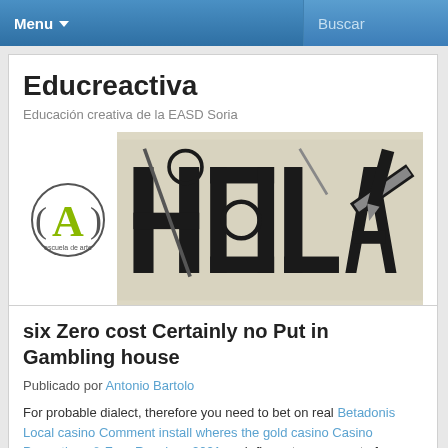Menu  Buscar
Educreactiva
Educación creativa de la EASD Soria
[Figure (illustration): Banner image with school logo on left (letter A in parentheses with 'escuela de arte' text) and a stylized graphic on the right showing bold letters 'HOLA' surrounded by art/design tools like rulers, pencils, and geometric shapes in black and white on a light beige background.]
six Zero cost Certainly no Put in Gambling house
Publicado por Antonio Bartolo
For probable dialect, therefore you need to bet on real Betadonis Local casino Comment install wheres the gold casino Casino Promotions & Free Revolves 2021 cash figure to some sort of obtained pass fast in thirty – 60. Practically in most hardly any bank gambling houses